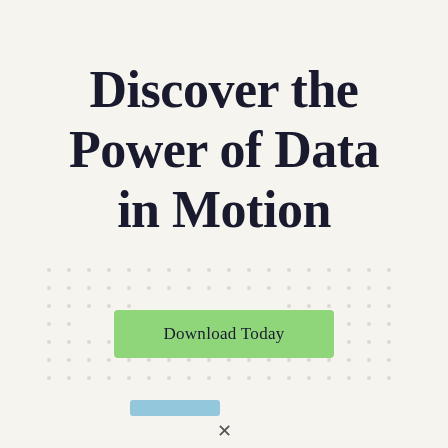Discover the Power of Data in Motion
[Figure (infographic): Dot grid background pattern behind the download button area, with a light blue smudge accent near the bottom]
Download Today